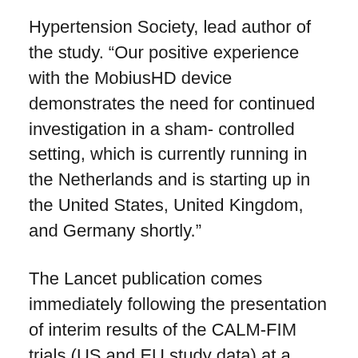Hypertension Society, lead author of the study. “Our positive experience with the MobiusHD device demonstrates the need for continued investigation in a sham- controlled setting, which is currently running in the Netherlands and is starting up in the United States, United Kingdom, and Germany shortly.”
The Lancet publication comes immediately following the presentation of interim results of the CALM-FIM trials (US and EU study data) at a podium session at the 2017 Annual Congress of the European Society of Cardiology in Barcelona by Dr. Spiering.
“These results present a potentially significant